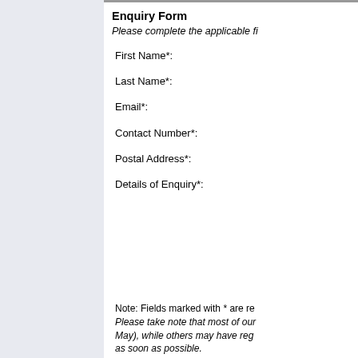Enquiry Form
Please complete the applicable fi
First Name*:
Last Name*:
Email*:
Contact Number*:
Postal Address*:
Details of Enquiry*:
Note: Fields marked with * are re Please take note that most of our May), while others may have reg as soon as possible.